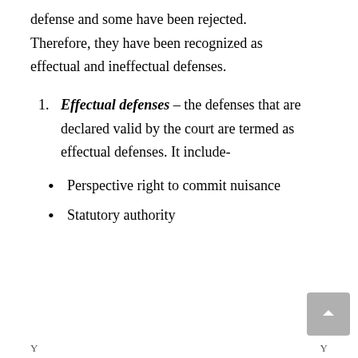defense and some have been rejected. Therefore, they have been recognized as effectual and ineffectual defenses.
Effectual defenses – the defenses that are declared valid by the court are termed as effectual defenses. It include-
Perspective right to commit nuisance
Statutory authority
Y   Y